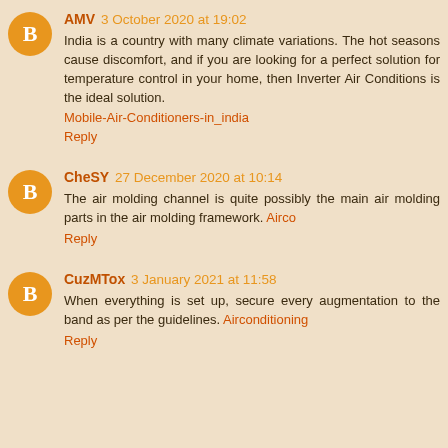AMV 3 October 2020 at 19:02
India is a country with many climate variations. The hot seasons cause discomfort, and if you are looking for a perfect solution for temperature control in your home, then Inverter Air Conditions is the ideal solution.
Mobile-Air-Conditioners-in_india
Reply
CheSY 27 December 2020 at 10:14
The air molding channel is quite possibly the main air molding parts in the air molding framework. Airco
Reply
CuzMTox 3 January 2021 at 11:58
When everything is set up, secure every augmentation to the band as per the guidelines. Airconditioning
Reply